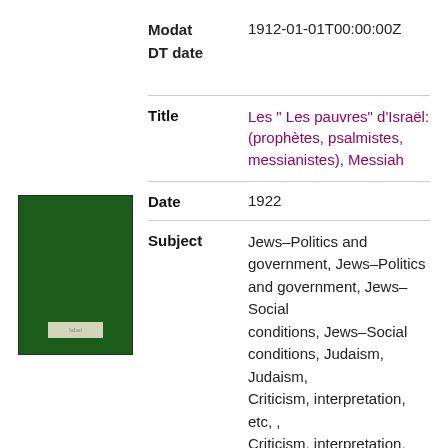Modat DT date | 1912-01-01T00:00:00Z
[Figure (illustration): Dark green book cover with a small light-colored label near the bottom]
Title | Les " Les pauvres" d'Israël: (prophètes, psalmistes, messianistes), Messiah
Date | 1922
Subject | Jews–Politics and government, Jews–Politics and government, Jews–Social conditions, Jews–Social conditions, Judaism, Judaism, Criticism, interpretation, etc, , Criticism, interpretation, etc, , Jodendom, Jodendom, Profetieën, Profetieën, Messianisme, Messianisme